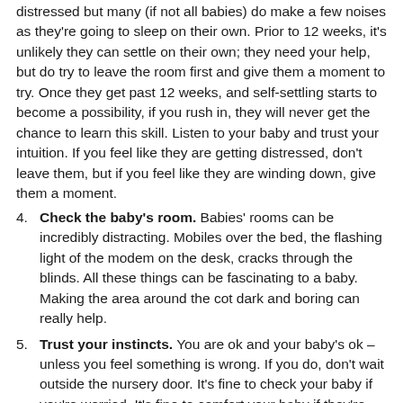distressed but many (if not all babies) do make a few noises as they're going to sleep on their own. Prior to 12 weeks, it's unlikely they can settle on their own; they need your help, but do try to leave the room first and give them a moment to try. Once they get past 12 weeks, and self-settling starts to become a possibility, if you rush in, they will never get the chance to learn this skill. Listen to your baby and trust your intuition. If you feel like they are getting distressed, don't leave them, but if you feel like they are winding down, give them a moment.
Check the baby's room. Babies' rooms can be incredibly distracting. Mobiles over the bed, the flashing light of the modem on the desk, cracks through the blinds. All these things can be fascinating to a baby. Making the area around the cot dark and boring can really help.
Trust your instincts. You are ok and your baby's ok – unless you feel something is wrong. If you do, don't wait outside the nursery door. It's fine to check your baby if you're worried. It's fine to comfort your baby if they're distressed. I really believe that parents know what's best for their baby.
Toddlers